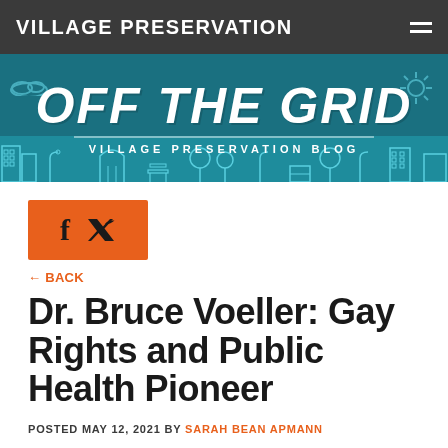VILLAGE PRESERVATION
[Figure (illustration): Off The Grid - Village Preservation Blog banner with teal background, city skyline silhouette icons, clouds, and sun decorations]
[Figure (illustration): Orange rectangle social sharing button with Facebook (f) and Twitter (bird) icons]
← BACK
Dr. Bruce Voeller: Gay Rights and Public Health Pioneer
POSTED MAY 12, 2021 BY SARAH BEAN APMANN